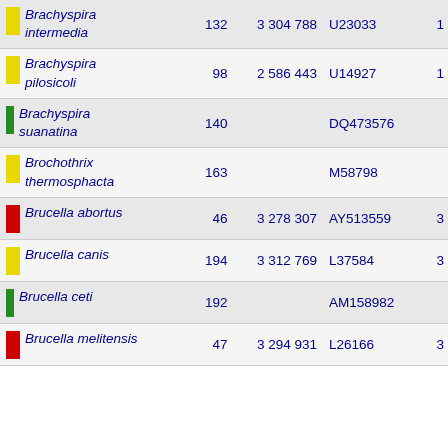| Species | Seqs | Genome size | Accession | Chr |
| --- | --- | --- | --- | --- |
| Brachyspira intermedia | 132 | 3 304 788 | U23033 | 1 |
| Brachyspira pilosicoli | 98 | 2 586 443 | U14927 | 1 |
| Brachyspira suanatina | 140 |  | DQ473576 |  |
| Brochothrix thermosphacta | 163 |  | M58798 |  |
| Brucella abortus | 46 | 3 278 307 | AY513559 | 3 |
| Brucella canis | 194 | 3 312 769 | L37584 | 3 |
| Brucella ceti | 192 |  | AM158982 |  |
| Brucella melitensis | 47 | 3 294 931 | L26166 | 3 |